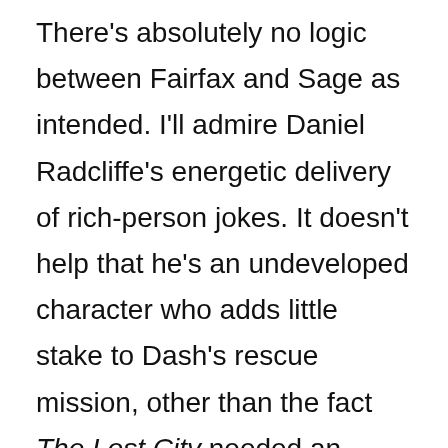There's absolutely no logic between Fairfax and Sage as intended. I'll admire Daniel Radcliffe's energetic delivery of rich-person jokes. It doesn't help that he's an undeveloped character who adds little stake to Dash's rescue mission, other than the fact The Lost City needed an unimposing antagonist. The film's real show stealer comes from Beth Hatten (Da'Vine Joy Randolph), joining Sage's rescue as her publicist. I was close to cracking up at Beth's own journey filled with inconveniences. Her reactions to weird pilot